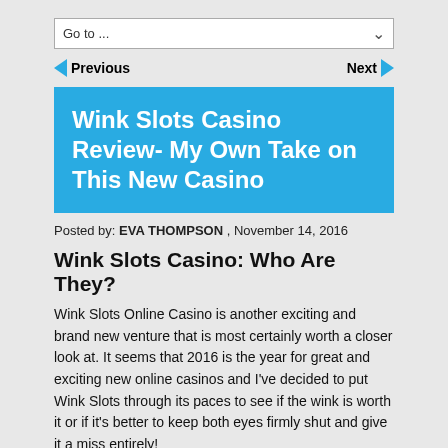Go to ...
Previous   Next
Wink Slots Casino Review- My Own Take on This New Casino
Posted by: EVA THOMPSON , November 14, 2016
Wink Slots Casino: Who Are They?
Wink Slots Online Casino is another exciting and brand new venture that is most certainly worth a closer look at. It seems that 2016 is the year for great and exciting new online casinos and I've decided to put Wink Slots through its paces to see if the wink is worth it or if it's better to keep both eyes firmly shut and give it a miss entirely!